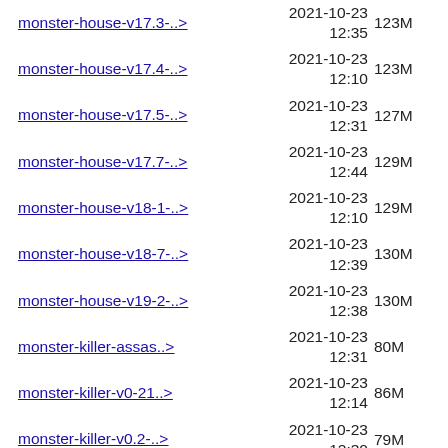monster-house-v17.3-..>  2021-10-23 12:35  123M
monster-house-v17.4-..>  2021-10-23 12:10  123M
monster-house-v17.5-..>  2021-10-23 12:31  127M
monster-house-v17.7-..>  2021-10-23 12:44  129M
monster-house-v18-1-..>  2021-10-23 12:10  129M
monster-house-v18-7-..>  2021-10-23 12:39  130M
monster-house-v19-2-..>  2021-10-23 12:38  130M
monster-killer-assas..>  2021-10-23 12:31  80M
monster-killer-v0-21..>  2021-10-23 12:14  86M
monster-killer-v0.2-..>  2021-10-23 12:30  79M
monster-killer-v0.20..>  2021-10-23 12:37  81M